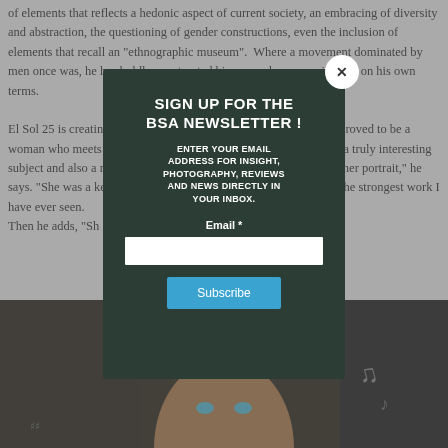of elements that reflects a hedonic aspect of current society, an embracing of diversity and abstraction, the questioning of gender constructions, even the inclusion of elements that recall an "ethnographic museum". Where a movement dominated by men once was, he has boldly constructed his unusual oeuvre within it, on his own terms. El Sol 25 is creating a picture of personal INTEREST because she proved to be a woman who meets the highest standards of composition and being a truly interesting subject and also a native German so I really couldn't resist making her portrait," he says. "She was a key element of that moment and her collages are the strongest work I have ever seen. Then he adds, "Sh
[Figure (photo): Dark photograph showing a person's face with blue eyes and colorful elements, against a very dark background.]
SIGN UP FOR THE BSA NEWSLETTER ! ENTER YOUR EMAIL ADDRESS FOR INSIGHT, PHOTOGRAPHY, REVIEWS AND NEWS DIRECTLY IN YOUR INBOX.